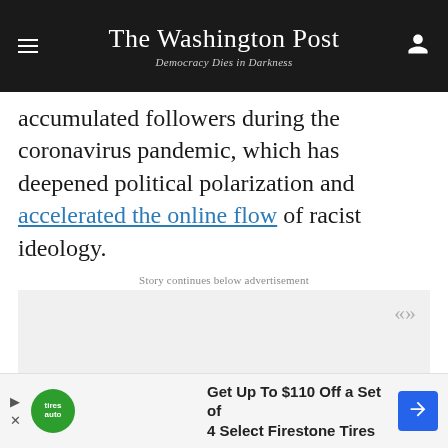The Washington Post
Democracy Dies in Darkness
accumulated followers during the coronavirus pandemic, which has deepened political polarization and accelerated the online flow of racist ideology.
Story continues below advertisement
[Figure (other): Advertisement placeholder (gray rectangle)]
[Figure (other): Bottom advertisement: Get Up To $110 Off a Set of 4 Select Firestone Tires]